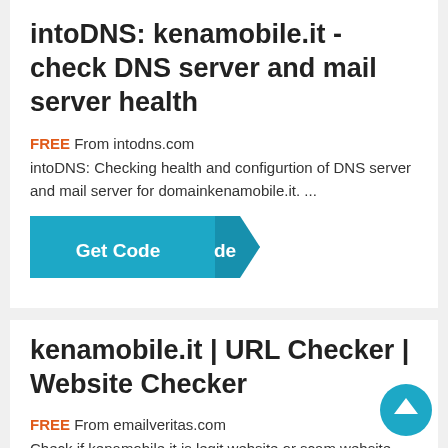intoDNS: kenamobile.it - check DNS server and mail server health
FREE From intodns.com
intoDNS: Checking health and configurtion of DNS server and mail server for domainkenamobile.it. ...
[Figure (other): Get Code button with teal background and folded ribbon effect]
kenamobile.it | URL Checker | Website Checker
FREE From emailveritas.com
Check if kenamobile.it is legit website or scam website . URL checker is a free tool to detect malicious URLs including malware, scam and
[Figure (other): Round teal scroll-to-top arrow button]